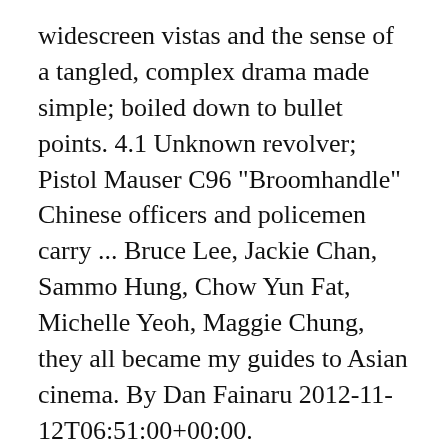widescreen vistas and the sense of a tangled, complex drama made simple; boiled down to bullet points. 4.1 Unknown revolver; Pistol Mauser C96 "Broomhandle" Chinese officers and policemen carry ... Bruce Lee, Jackie Chan, Sammo Hung, Chow Yun Fat, Michelle Yeoh, Maggie Chung, they all became my guides to Asian cinema. By Dan Fainaru 2012-11-12T06:51:00+00:00. Statuskoordinate Der Standort befindet sich in diesem Bereich. [22 Nov 1989, p.E1] 50. Back to 1942 (OV) Details zu Back to 1942 (OV) Titel: Back to 1942 (OV) ( 0) FSK: k.A. Li Xuejian Besetzung. 1942-08-19 Der Overlord-Plan | Dieppe . 2012 NR 2h 24m DVD Rent this movie. The Henan province disaster